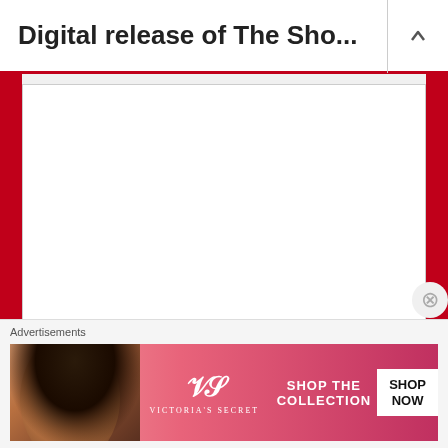Digital release of The Sho...
[Figure (screenshot): Empty comment textarea input box with resize handle at bottom right]
Name *
[Figure (screenshot): Empty name input text field]
Email *
Advertisements
[Figure (photo): Victoria's Secret advertisement banner showing a woman with curly hair and text: SHOP THE COLLECTION, SHOP NOW button, Victoria's Secret logo]